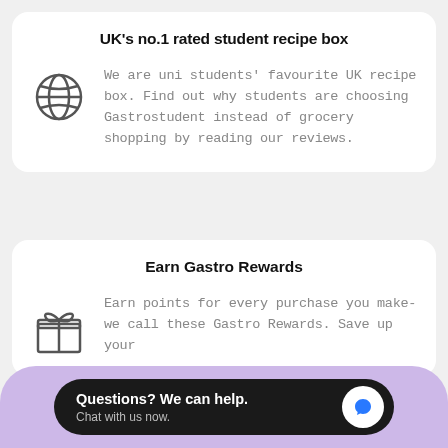UK's no.1 rated student recipe box
We are uni students' favourite UK recipe box. Find out why students are choosing Gastrostudent instead of grocery shopping by reading our reviews.
Earn Gastro Rewards
Earn points for every purchase you make- we call these Gastro Rewards. Save up your
Questions? We can help. Chat with us now.